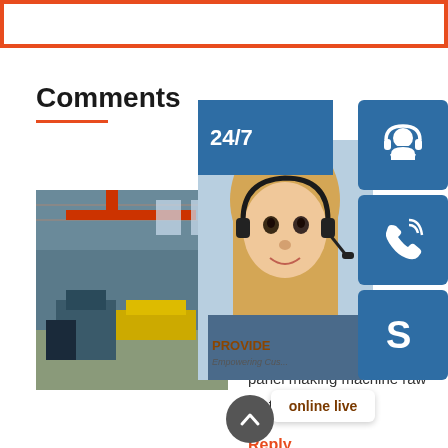Comments
[Figure (photo): Industrial factory floor showing sandwich panel machine production equipment with overhead cranes and machinery.]
Sandwich Panel Machine
Sandwich Panel Machine For Sale, Sandwich Panel Sandwich panel making machine raw material include ...
Reply
[Figure (infographic): Customer service overlay showing 24/7 support text, a headset-wearing female customer service agent, and three blue icon buttons for support chat, phone, and Skype, with an online live button.]